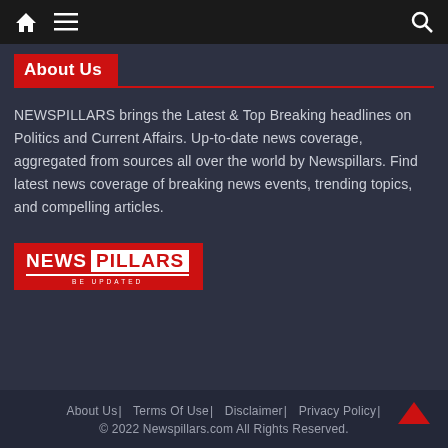Navigation bar with home, menu, and search icons
About Us
NEWSPILLARS brings the Latest & Top Breaking headlines on Politics and Current Affairs. Up-to-date news coverage, aggregated from sources all over the world by Newspillars. Find latest news coverage of breaking news events, trending topics, and compelling articles.
[Figure (logo): NEWS PILLARS logo with red background and tagline BE UPDATED]
About Us| Terms Of Use| Disclaimer| Privacy Policy| © 2022 Newspillars.com All Rights Reserved.